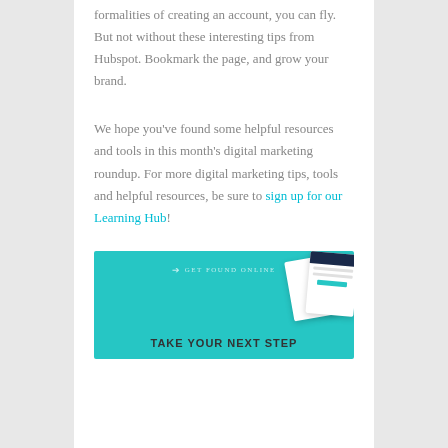formalities of creating an account, you can fly. But not without these interesting tips from Hubspot. Bookmark the page, and grow your brand.
We hope you've found some helpful resources and tools in this month's digital marketing roundup. For more digital marketing tips, tools and helpful resources, be sure to sign up for our Learning Hub!
[Figure (infographic): Teal banner with GET FOUND ONLINE logo at top, decorative cards/devices on the right, and bold text 'TAKE YOUR NEXT STEP' at the bottom center.]